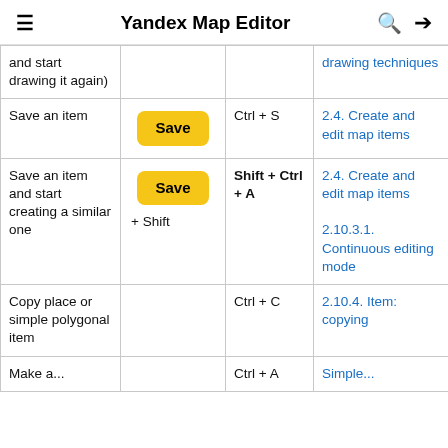Yandex Map Editor
| Action | Button | Shortcut | See also |
| --- | --- | --- | --- |
| and start drawing it again) |  |  | drawing techniques |
| Save an item | Save | Ctrl + S | 2.4. Create and edit map items |
| Save an item and start creating a similar one | Save + Shift | Shift + Ctrl + A | 2.4. Create and edit map items
2.10.3.1. Continuous editing mode |
| Copy place or simple polygonal item |  | Ctrl + C | 2.10.4. Item: copying |
| Make a ... |  | Ctrl + A | Simple... |